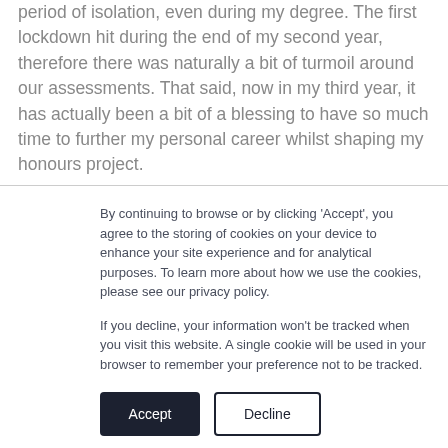period of isolation, even during my degree. The first lockdown hit during the end of my second year, therefore there was naturally a bit of turmoil around our assessments. That said, now in my third year, it has actually been a bit of a blessing to have so much time to further my personal career whilst shaping my honours project.
By continuing to browse or by clicking 'Accept', you agree to the storing of cookies on your device to enhance your site experience and for analytical purposes. To learn more about how we use the cookies, please see our privacy policy.
If you decline, your information won't be tracked when you visit this website. A single cookie will be used in your browser to remember your preference not to be tracked.